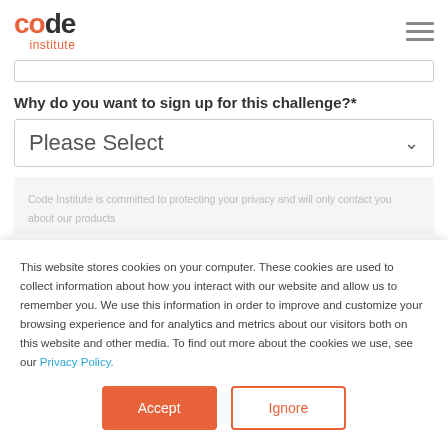code institute
Why do you want to sign up for this challenge?*
Please Select
Code Institute is committed to protecting your privacy and will only contact you about our products
This website stores cookies on your computer. These cookies are used to collect information about how you interact with our website and allow us to remember you. We use this information in order to improve and customize your browsing experience and for analytics and metrics about our visitors both on this website and other media. To find out more about the cookies we use, see our Privacy Policy.
Accept
Ignore